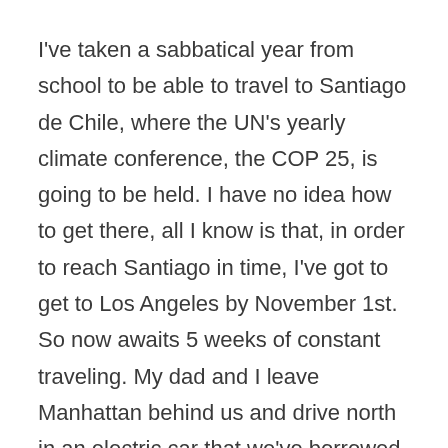I've taken a sabbatical year from school to be able to travel to Santiago de Chile, where the UN's yearly climate conference, the COP 25, is going to be held. I have no idea how to get there, all I know is that, in order to reach Santiago in time, I've got to get to Los Angeles by November 1st. So now awaits 5 weeks of constant traveling. My dad and I leave Manhattan behind us and drive north in an electric car that we've borrowed from Arnold Schwarzenegger.
We travel through spectacular landscapes, past mountains, ravines, glaciers, prairies, deserts,